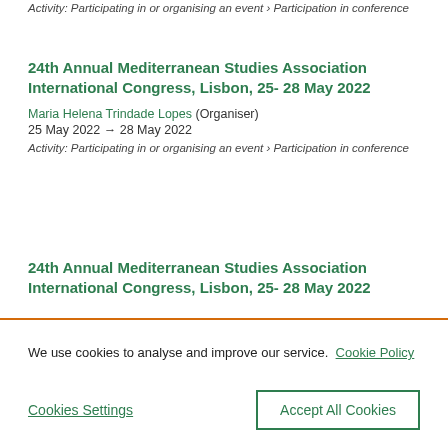Activity: Participating in or organising an event › Participation in conference
24th Annual Mediterranean Studies Association International Congress, Lisbon, 25- 28 May 2022
Maria Helena Trindade Lopes (Organiser)
25 May 2022 → 28 May 2022
Activity: Participating in or organising an event › Participation in conference
24th Annual Mediterranean Studies Association International Congress, Lisbon, 25- 28 May 2022
We use cookies to analyse and improve our service. Cookie Policy
Cookies Settings
Accept All Cookies